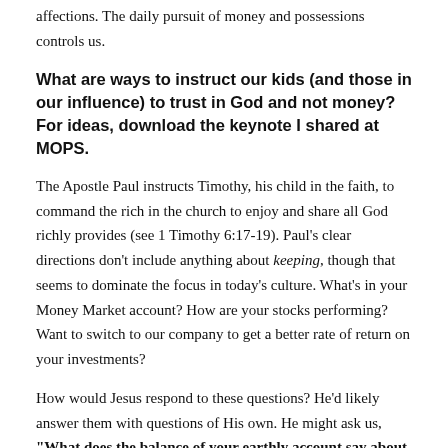affections. The daily pursuit of money and possessions controls us.
What are ways to instruct our kids (and those in our influence) to trust in God and not money? For ideas, download the keynote I shared at MOPS.
The Apostle Paul instructs Timothy, his child in the faith, to command the rich in the church to enjoy and share all God richly provides (see 1 Timothy 6:17-19). Paul's clear directions don't include anything about keeping, though that seems to dominate the focus in today's culture. What's in your Money Market account? How are your stocks performing? Want to switch to our company to get a better rate of return on your investments?
How would Jesus respond to these questions? He'd likely answer them with questions of His own. He might ask us, "What does the balance of your earthly account say about your heart? Which account dominates your focus: earthly or heavenly? Do you want to know how much is in your heavenly account?"